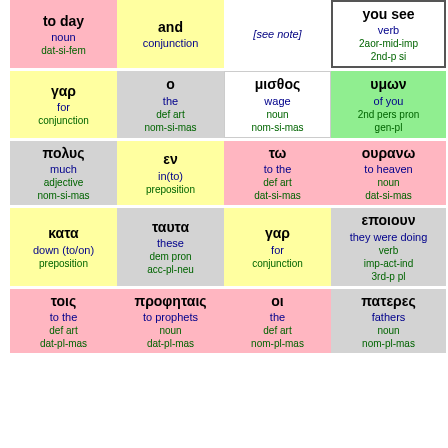| to day / noun / dat-si-fem | and / conjunction | [see note] | you see / verb / 2aor-mid-imp / 2nd-p si |
| γαρ / for / conjunction | ο / the / def art / nom-si-mas | μισθος / wage / noun / nom-si-mas | υμων / of you / 2nd pers pron / gen-pl |
| πολυς / much / adjective / nom-si-mas | εν / in(to) / preposition | τω / to the / def art / dat-si-mas | ουρανω / to heaven / noun / dat-si-mas |
| κατα / down (to/on) / preposition | ταυτα / these / dem pron / acc-pl-neu | γαρ / for / conjunction | εποιουν / they were doing / verb / imp-act-ind / 3rd-p pl |
| τοις / to the / def art / dat-pl-mas | προφηταις / to prophets / noun / dat-pl-mas | οι / the / def art / nom-pl-mas | πατερες / fathers / noun / nom-pl-mas |